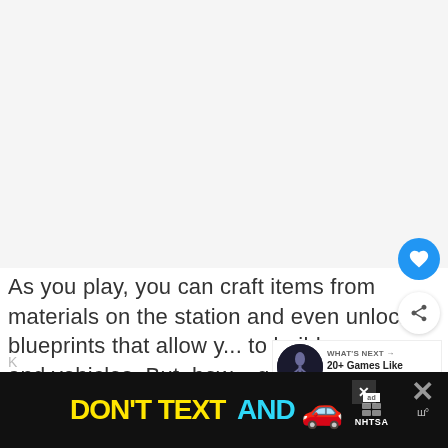[Figure (other): Large image placeholder area (gray/white background, content not visible)]
[Figure (other): Blue circular heart/favorite button with white heart icon]
[Figure (other): White circular share button with share icon]
As you play, you can craft items from materials on the station and even unlock blueprints that allow you to build weapons and vehicles. But, bew... games are not for the faint of heart!
[Figure (other): WHAT'S NEXT → thumbnail panel: dark avatar image, text '20+ Games Like Wizard...']
[Figure (other): Ad banner: DON'T TEXT AND [car emoji] ad with NHTSA branding, close buttons]